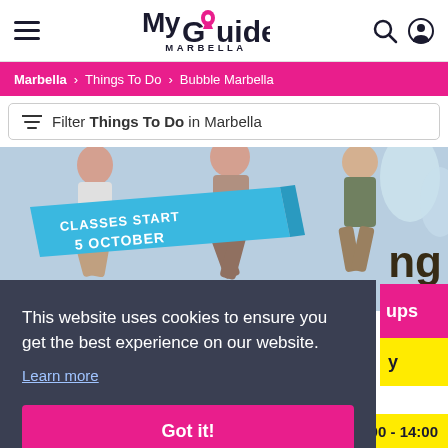My Guide MARBELLA
Marbella > Things To Do > Bubble Marbella
Filter Things To Do in Marbella
[Figure (photo): People jumping, with banner reading CLASSES START 5 OCTOBER and partial text 'ng' visible on right]
This website uses cookies to ensure you get the best experience on our website. Learn more
Got it!
ups
y
29604 Marbella
11:00 - 14:00